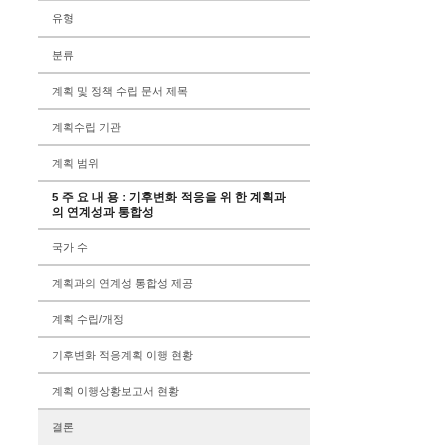유형
분류
계획 및 정책 수립 문서 제목
계획수립 기관
계획 범위
5 주 요 내 용 : 기후변화 적응을 위 한 계획과의 연계성과 통합성
국가 수준
계획과의 연계성 통합성 제공
계획 수립/개정
기후변화 적응계획 이행 현황
계획 이행상황보고서 현황
결론